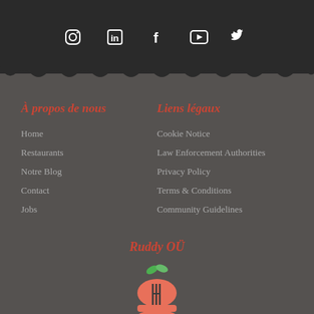[Figure (other): Social media icons row: Instagram, LinkedIn, Facebook, YouTube, Twitter on dark background]
À propos de nous
Home
Restaurants
Notre Blog
Contact
Jobs
Liens légaux
Cookie Notice
Law Enforcement Authorities
Privacy Policy
Terms & Conditions
Community Guidelines
Ruddy OÜ
[Figure (logo): Ruddy OÜ logo: a burger-shaped icon with a green leaf on top and a fork overlay, in coral/salmon red color]